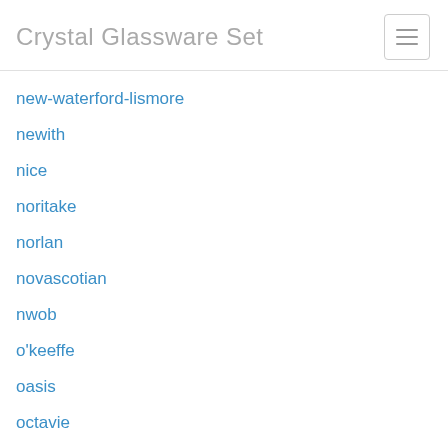Crystal Glassware Set
new-waterford-lismore
newith
nice
noritake
norlan
novascotian
nwob
o'keeffe
oasis
octavie
of12